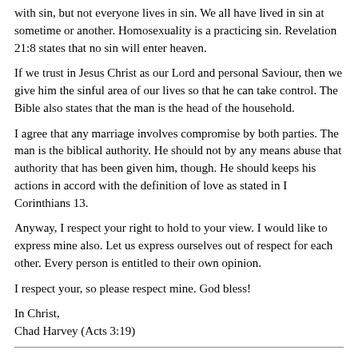with sin, but not everyone lives in sin. We all have lived in sin at sometime or another. Homosexuality is a practicing sin. Revelation 21:8 states that no sin will enter heaven.
If we trust in Jesus Christ as our Lord and personal Saviour, then we give him the sinful area of our lives so that he can take control. The Bible also states that the man is the head of the household.
I agree that any marriage involves compromise by both parties. The man is the biblical authority. He should not by any means abuse that authority that has been given him, though. He should keeps his actions in accord with the definition of love as stated in I Corinthians 13.
Anyway, I respect your right to hold to your view. I would like to express mine also. Let us express ourselves out of respect for each other. Every person is entitled to their own opinion.
I respect your, so please respect mine. God bless!
In Christ,
Chad Harvey (Acts 3:19)
[Heavily reformatted. Note that his god created men to dominate women and the belief that pointing out fascist behavior is disrespectful and should be avoided because everyone is entitled to their own opinion.]